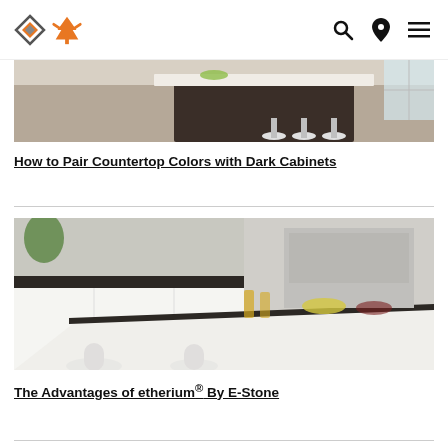Logo and navigation icons (search, location, menu)
[Figure (photo): Kitchen interior with dark cabinet island, white marble countertops, and bar stools on wooden floor]
How to Pair Countertop Colors with Dark Cabinets
[Figure (photo): Bright white kitchen with island, white bar stools, dark granite countertops, stainless steel appliances, and food items on the counter]
The Advantages of etherium® By E-Stone